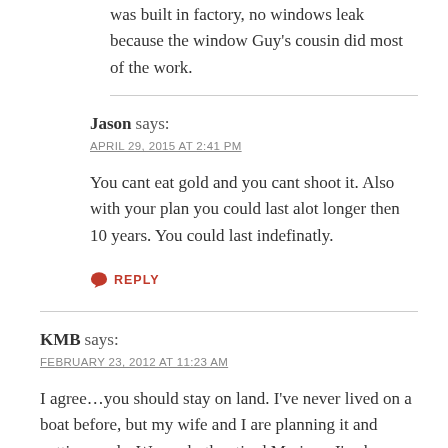was built in factory, no windows leak because the window Guy's cousin did most of the work.
Jason says:
APRIL 29, 2015 AT 2:41 PM
You cant eat gold and you cant shoot it. Also with your plan you could last alot longer then 10 years. You could last indefinatly.
REPLY
KMB says:
FEBRUARY 23, 2012 AT 11:23 AM
I agree…you should stay on land. I've never lived on a boat before, but my wife and I are planning it and getting ready. We are both retired Marines. I've been researching this decision for the past year, and I have yet to read as many negative